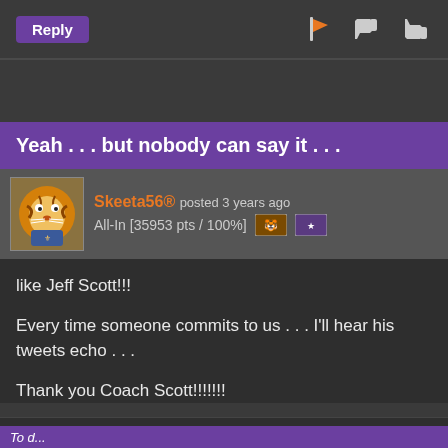Reply
Yeah . . . but nobody can say it . . .
Skeeta56® posted 3 years ago
All-In [35953 pts / 100%]
like Jeff Scott!!!
Every time someone commits to us . . . I'll hear his tweets echo . . .
Thank you Coach Scott!!!!!!!
Reply